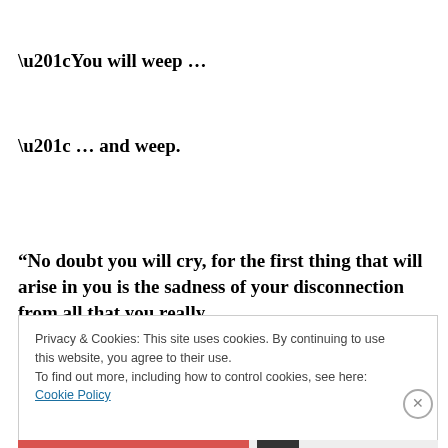“You will weep …
“ … and weep.
“No doubt you will cry, for the first thing that will arise in you is the sadness of your disconnection from all that you really
Privacy & Cookies: This site uses cookies. By continuing to use this website, you agree to their use.
To find out more, including how to control cookies, see here: Cookie Policy
Close and accept